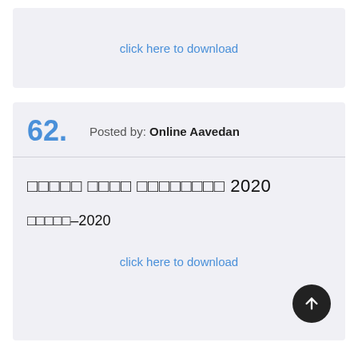click here to download
62. Posted by: Online Aavedan
□□□□□ □□□□ □□□□□□□□ 2020
□□□□□–2020
click here to download